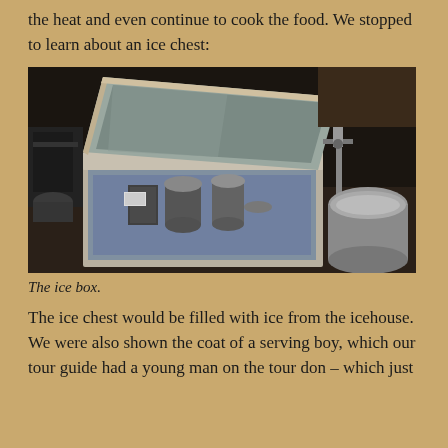the heat and even continue to cook the food. We stopped to learn about an ice chest:
[Figure (photo): Photograph of an antique ice box (ice chest) with its lid open, showing the interior lined with metal and containing several tin cans and containers. A faucet and cylindrical metal container are visible to the right side.]
The ice box.
The ice chest would be filled with ice from the icehouse. We were also shown the coat of a serving boy, which our tour guide had a young man on the tour don – which just